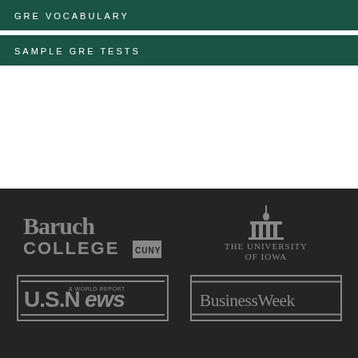GRE VOCABULARY
SAMPLE GRE TESTS
[Figure (logo): Baruch College CUNY logo in gray]
[Figure (logo): The University of Iowa logo in gray]
[Figure (logo): U.S. News & World Report logo in gray with border]
[Figure (logo): BusinessWeek logo in gray with border]